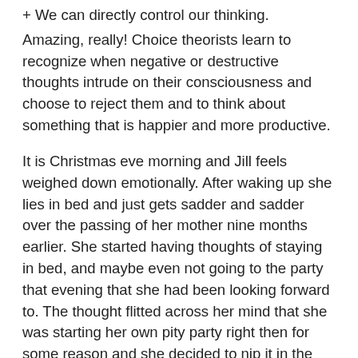+ We can directly control our thinking.
Amazing, really! Choice theorists learn to recognize when negative or destructive thoughts intrude on their consciousness and choose to reject them and to think about something that is happier and more productive.
It is Christmas eve morning and Jill feels weighed down emotionally. After waking up she lies in bed and just gets sadder and sadder over the passing of her mother nine months earlier. She started having thoughts of staying in bed, and maybe even not going to the party that evening that she had been looking forward to. The thought flitted across her mind that she was starting her own pity party right then for some reason and she decided to nip it in the bud. “I do miss my mother terribly, but staying in bed and feeling bad about it isn’t going to help. I’ve got stuff to do today and I want to go the party tonight.” She swings her